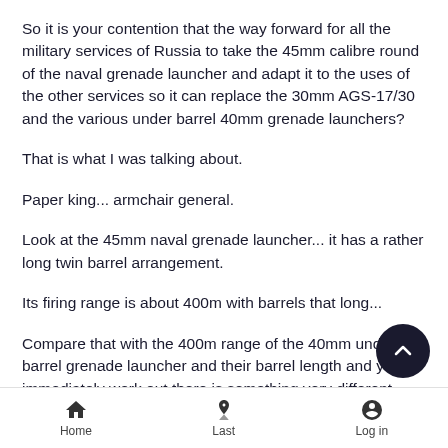So it is your contention that the way forward for all the military services of Russia to take the 45mm calibre round of the naval grenade launcher and adapt it to the uses of the other services so it can replace the 30mm AGS-17/30 and the various under barrel 40mm grenade launchers?
That is what I was talking about.
Paper king... armchair general.
Look at the 45mm naval grenade launcher... it has a rather long twin barrel arrangement.
Its firing range is about 400m with barrels that long...
Compare that with the 400m range of the 40mm under barrel grenade launcher and their barrel length and you immediately work out there is something very different here.
Home  Last  Log in